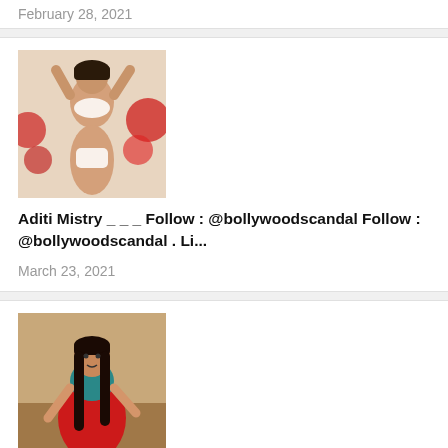February 28, 2021
[Figure (photo): Thumbnail image of a woman in white swimwear posing with flowers in the background]
Aditi Mistry ___ Follow : @bollywoodscandal Follow : @bollywoodscandal . Li...
March 23, 2021
[Figure (photo): Thumbnail image of a woman in red and teal traditional Indian clothing with long dark hair]
#mallu #malluhot #malayali #aunty #desi #desihot #selfie #hotselfie #randi #bhab...
February 24, 2021
[Figure (photo): Partial thumbnail image of a person, partially visible at the bottom of the page]